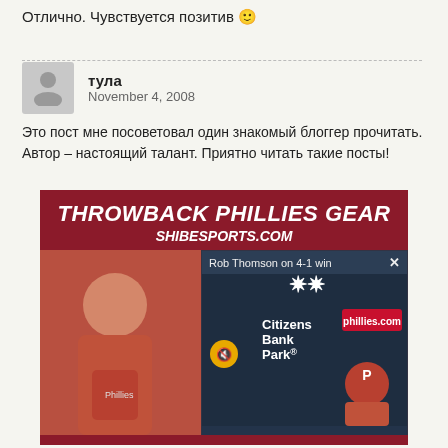Отлично. Чувствуется позитив 🙂
тула
November 4, 2008
Это пост мне посоветовал один знакомый блоггер прочитать. Автор – настоящий талант. Приятно читать такие посты!
[Figure (photo): Advertisement for Throwback Phillies Gear at ShibeSports.com with a fan photo and a video overlay showing Rob Thomson on 4-1 win press conference at Citizens Bank Park]